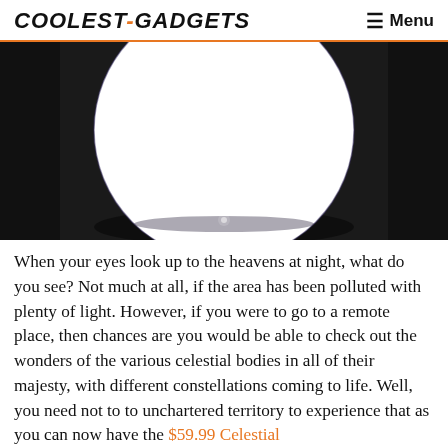COOLEST-GADGETS  ☰ Menu
[Figure (photo): Close-up photo of a dark glass sphere or crystal ball reflecting a galaxy/nebula image against a dark grey background.]
When your eyes look up to the heavens at night, what do you see? Not much at all, if the area has been polluted with plenty of light. However, if you were to go to a remote place, then chances are you would be able to check out the wonders of the various celestial bodies in all of their majesty, with different constellations coming to life. Well, you need not to to unchartered territory to experience that as you can now have the $59.99 Celestial